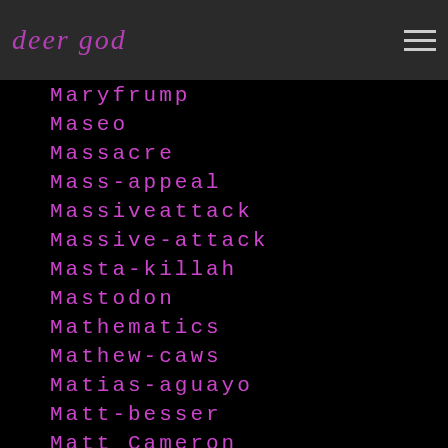deer god
Maryfrump
Maseo
Massacre
Mass-appeal
Massiveattack
Massive-attack
Masta-killah
Mastodon
Mathematics
Mathew-caws
Matias-aguayo
Matt-besser
Matt Cameron
Matt-johnson
Matt-pike
Matt-sharp
Matt Skiba